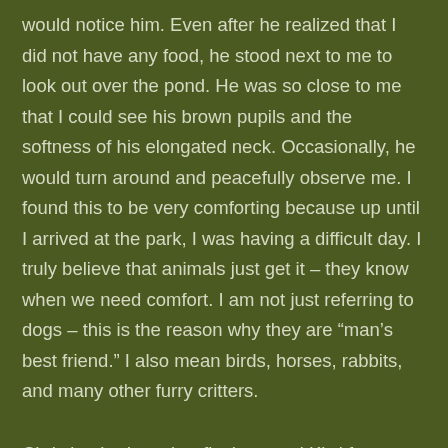would notice him.  Even after he realized that I did not have any food, he stood next to me to look out over the pond.  He was so close to me that I could see his brown pupils and the softness of his elongated neck.  Occasionally, he would turn around and peacefully observe me.  I found this to be very comforting because up until I arrived at the park, I was having a difficult day.  I truly believe that animals just get it – they know when we need comfort.  I am not just referring to dogs – this is the reason why they are “man’s best friend.”  I also mean birds, horses, rabbits, and many other furry critters.
Christian had a zebra finch named Kiwi for several years.  Kiwi was a ornery, wild, little fella and Christian would park his wheelchair next to his cage every